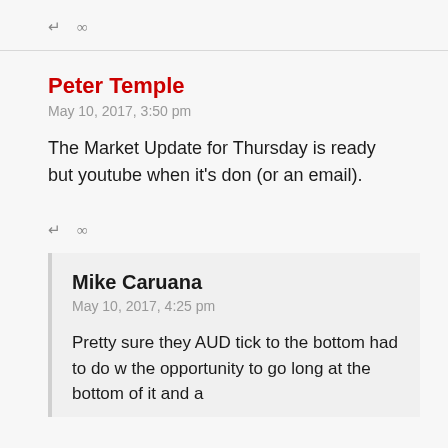↵  ∞
Peter Temple
May 10, 2017, 3:50 pm
The Market Update for Thursday is ready but youtube when it's don (or an email).
↵  ∞
Mike Caruana
May 10, 2017, 4:25 pm
Pretty sure they AUD tick to the bottom had to do w the opportunity to go long at the bottom of it and a